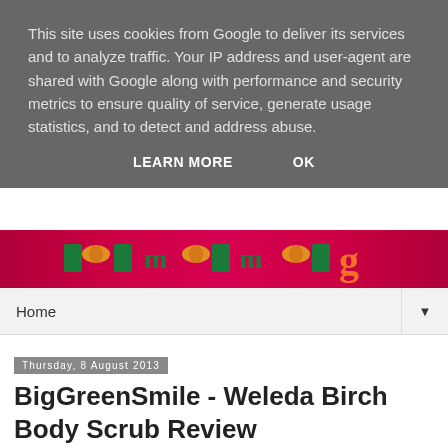This site uses cookies from Google to deliver its services and to analyze traffic. Your IP address and user-agent are shared with Google along with performance and security metrics to ensure quality of service, generate usage statistics, and to detect and address abuse.
LEARN MORE    OK
[Figure (illustration): Website banner with magenta/pink background showing green text logo and decorative capsule/tablet icons]
Home ▼
Thursday, 8 August 2013
BigGreenSmile - Weleda Birch Body Scrub Review
[Figure (photo): Weleda Birch Body Scrub product tube, light green color with Weleda logo, shown in a white bordered box]